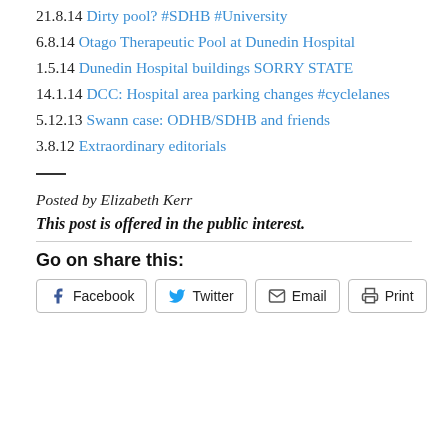21.8.14 Dirty pool? #SDHB #University
6.8.14 Otago Therapeutic Pool at Dunedin Hospital
1.5.14 Dunedin Hospital buildings SORRY STATE
14.1.14 DCC: Hospital area parking changes #cyclelanes
5.12.13 Swann case: ODHB/SDHB and friends
3.8.12 Extraordinary editorials
—
Posted by Elizabeth Kerr
This post is offered in the public interest.
Go on share this:
Facebook  Twitter  Email  Print